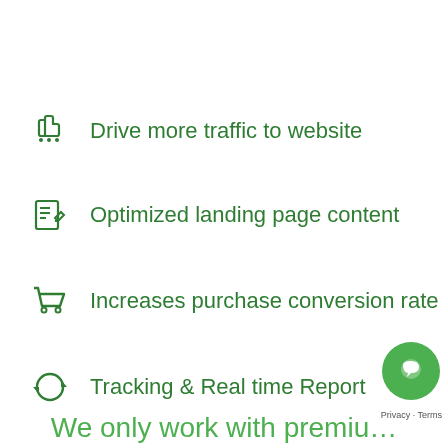Drive more traffic to website
Optimized landing page content
Increases purchase conversion rate
Tracking & Real time Report
We only work with premiu…